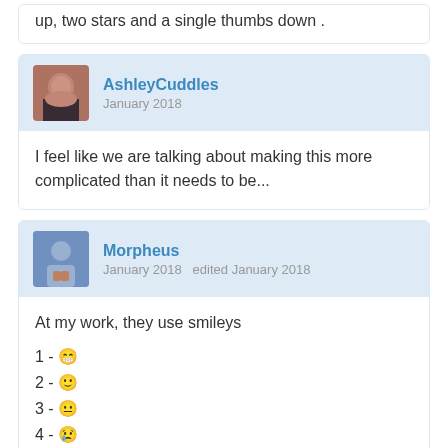up, two stars and a single thumbs down .
AshleyCuddles
January 2018
I feel like we are talking about making this more complicated than it needs to be...
Morpheus
January 2018  edited January 2018
At my work, they use smileys
1 - 😁
2 - 🙂
3 - 😐
4 - 😢
5 - 😖